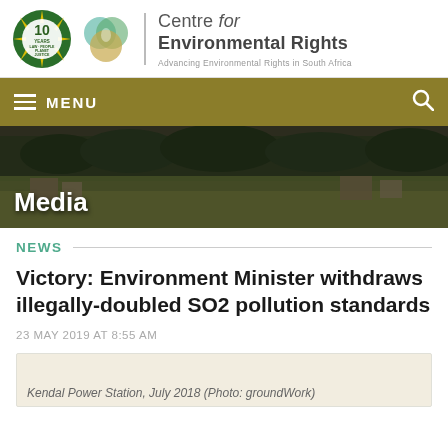[Figure (logo): 10 Years Law People Planet Justice anniversary logo (green/yellow burst design)]
[Figure (logo): Centre for Environmental Rights venn diagram logo (teal/olive circles)]
Centre for Environmental Rights
Advancing Environmental Rights in South Africa
[Figure (screenshot): Navigation bar with hamburger menu icon and MENU text on olive/gold background, search icon on right]
[Figure (photo): Hero image showing rural landscape with buildings, trees and fields - Media section banner]
Media
NEWS
Victory: Environment Minister withdraws illegally-doubled SO2 pollution standards
23 MAY 2019 AT 8:55 AM
Kendal Power Station, July 2018 (Photo: groundWork)